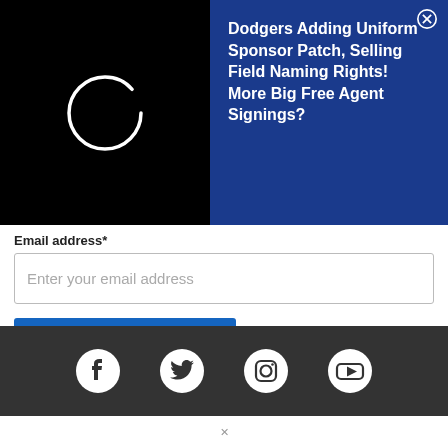[Figure (screenshot): Black banner with loading spinner circle outline in white]
Dodgers Adding Uniform Sponsor Patch, Selling Field Naming Rights! More Big Free Agent Signings?
Email address*
Enter your email address
SIGN UP! IT'S FREE!
We will NEVER share your email with anyone!
Sign Up Now! It's Free!
[Figure (infographic): Dark footer bar with Facebook, Twitter, Instagram, and YouTube social media icons in white]